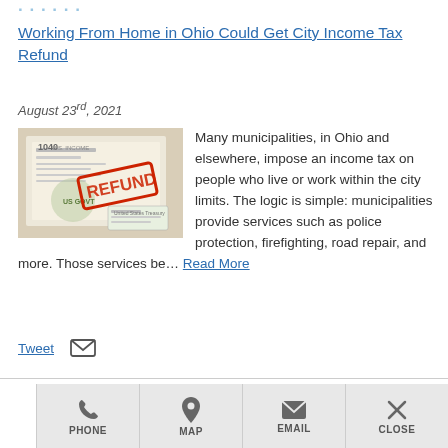Working From Home in Ohio Could Get City Income Tax Refund
August 23rd, 2021
[Figure (photo): A 1040 US tax form with a red REFUND stamp, alongside a US Treasury check]
Many municipalities, in Ohio and elsewhere, impose an income tax on people who live or work within the city limits. The logic is simple: municipalities provide services such as police protection, firefighting, road repair, and more. Those services be... Read More
Tweet  [email icon]
PHONE  MAP  EMAIL  CLOSE